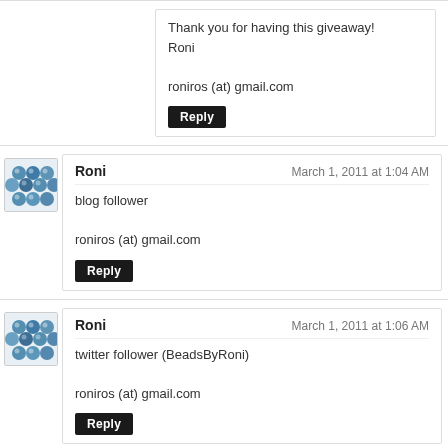Thank you for having this giveaway!
Roni

roniros (at) gmail.com
Reply
Roni — March 1, 2011 at 1:04 AM

blog follower

roniros (at) gmail.com
Reply
Roni — March 1, 2011 at 1:06 AM

twitter follower (BeadsByRoni)

roniros (at) gmail.com
Reply